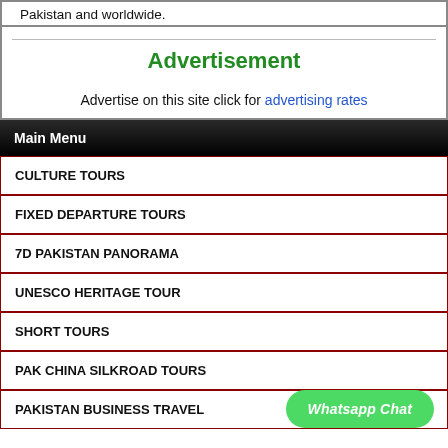special discounted rates for individuals and companies in Pakistan and worldwide.
Advertisement
Advertise on this site click for advertising rates
Main Menu
CULTURE TOURS
FIXED DEPARTURE TOURS
7D PAKISTAN PANORAMA
UNESCO HERITAGE TOUR
SHORT TOURS
PAK CHINA SILKROAD TOURS
PAKISTAN BUSINESS TRAVEL
Whatsapp Chat